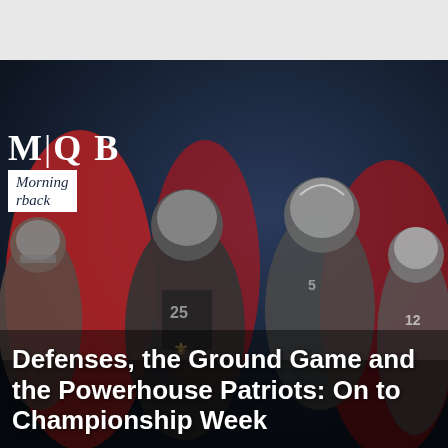[Figure (photo): Sports magazine page from MMQB (The Monday Morning Quarterback). Background shows NFL football players in action — Saints, Rams, and Patriots players in black-and-white with red accent colors on a dark navy background. Logo 'M|QB' appears at top left with subtitle 'Morning Quarterback' in white box.]
Defenses, the Ground Game and the Powerhouse Patriots: On to Championship Week